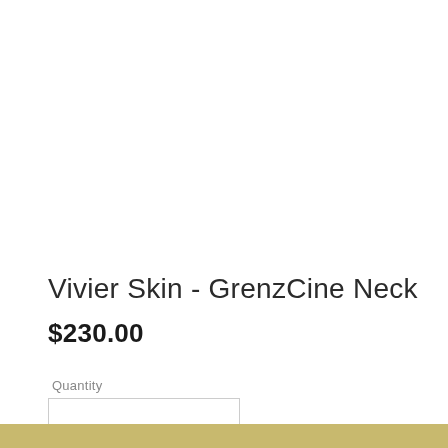Vivier Skin - GrenzCine Neck
$230.00
Quantity
1